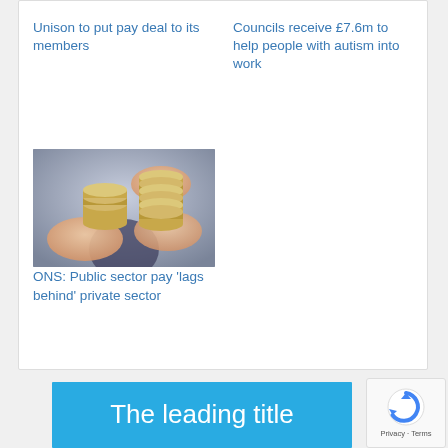Unison to put pay deal to its members
Councils receive £7.6m to help people with autism into work
[Figure (photo): Two hands holding and comparing two stacks of coins against a blurred background]
ONS: Public sector pay 'lags behind' private sector
The leading title
[Figure (logo): reCAPTCHA widget with Privacy and Terms links]